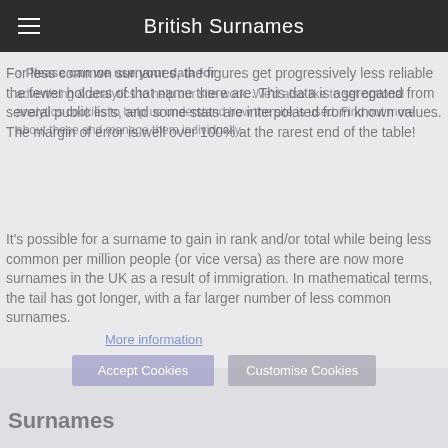British Surnames
For less common surnames, the figures get progressively less reliable the fewer holders of that name there are. This data is aggregated from several public lists, and some stats are interpolated from known values. The margin of error is well over 100% at the rarest end of the table!
It's possible for a surname to gain in rank and/or total while being less common per million people (or vice versa) as there are now more surnames in the UK as a result of immigration. In mathematical terms, the tail has got longer, with a far larger number of less common surnames.
More information
Accept Cookies   Customise Cookies
Surnames